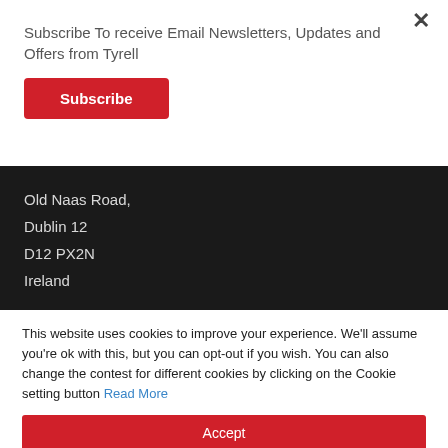Subscribe To receive Email Newsletters, Updates and Offers from Tyrell
[Figure (other): Red Subscribe button]
Old Naas Road,
Dublin 12
D12 PX2N
Ireland
This website uses cookies to improve your experience. We'll assume you're ok with this, but you can opt-out if you wish. You can also change the contest for different cookies by clicking on the Cookie setting button Read More
[Figure (other): Accept button (red)]
[Figure (other): Decline button (dark grey)]
[Figure (other): Cookie Settings button (dark)]